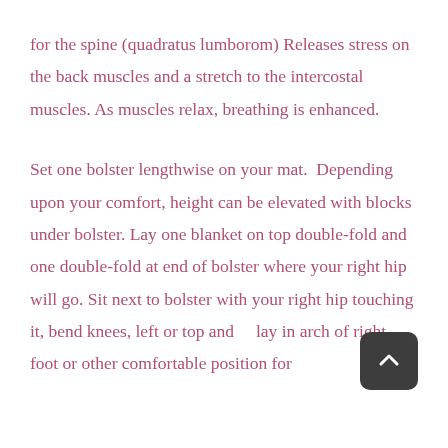for the spine (quadratus lumborom) Releases stress on the back muscles and a stretch to the intercostal muscles. As muscles relax, breathing is enhanced.

Set one bolster lengthwise on your mat.  Depending upon your comfort, height can be elevated with blocks under bolster. Lay one blanket on top double-fold and one double-fold at end of bolster where your right hip will go. Sit next to bolster with your right hip touching it, bend knees, left or top and lay in arch of right foot or other comfortable position for